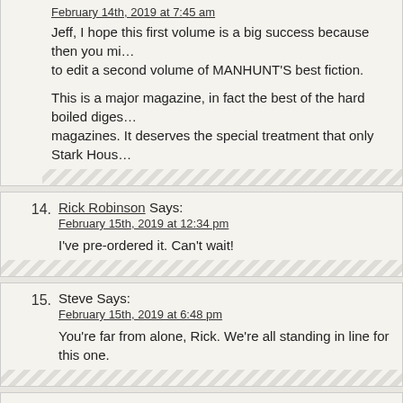February 14th, 2019 at 7:45 am
Jeff, I hope this first volume is a big success because then you mi... to edit a second volume of MANHUNT'S best fiction.

This is a major magazine, in fact the best of the hard boiled diges... magazines. It deserves the special treatment that only Stark Hous...
14. Rick Robinson Says:
February 15th, 2019 at 12:34 pm
I've pre-ordered it. Can't wait!
15. Steve Says:
February 15th, 2019 at 6:48 pm
You're far from alone, Rick. We're all standing in line for this one.
16. Walker Martin Says:
February 15th, 2019 at 11:09 pm
By the way, the DIGEST ENTHUSIAST has been printing a series... Enfantino where he reviews each issue of MANHUNT in chronolo...